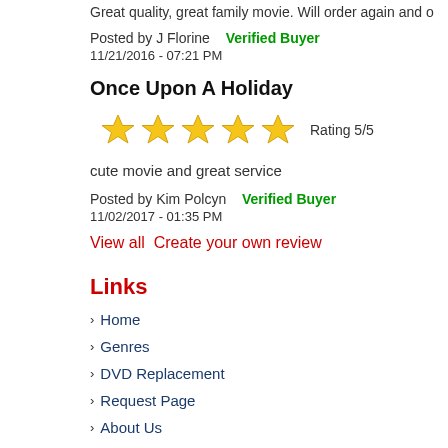Great quality, great family movie. Will order again and o
Posted by J Florine   Verified Buyer
11/21/2016 - 07:21 PM
Once Upon A Holiday
[Figure (other): 5 gold stars rating]
cute movie and great service
Posted by Kim Polcyn   Verified Buyer
11/02/2017 - 01:35 PM
View all  Create your own review
Links
Home
Genres
DVD Replacement
Request Page
About Us